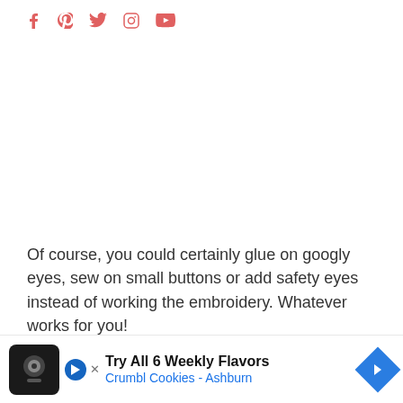Social media icons: Facebook, Pinterest, Twitter, Instagram, YouTube
Of course, you could certainly glue on googly eyes, sew on small buttons or add safety eyes instead of working the embroidery.  Whatever works for you!
The black cat can of course be made year round in different colors for any kitty cat lover!  I am sure [text cut off] at pony[text cut off] t
[Figure (other): Advertisement banner for Crumbl Cookies - Ashburn: Try All 6 Weekly Flavors]